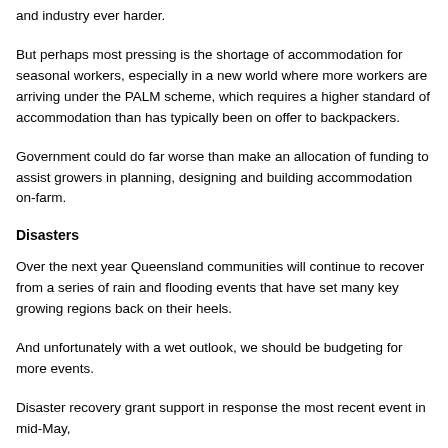and industry ever harder.
But perhaps most pressing is the shortage of accommodation for seasonal workers, especially in a new world where more workers are arriving under the PALM scheme, which requires a higher standard of accommodation than has typically been on offer to backpackers.
Government could do far worse than make an allocation of funding to assist growers in planning, designing and building accommodation on-farm.
Disasters
Over the next year Queensland communities will continue to recover from a series of rain and flooding events that have set many key growing regions back on their heels.
And unfortunately with a wet outlook, we should be budgeting for more events.
Disaster recovery grant support in response the most recent event in mid-May,